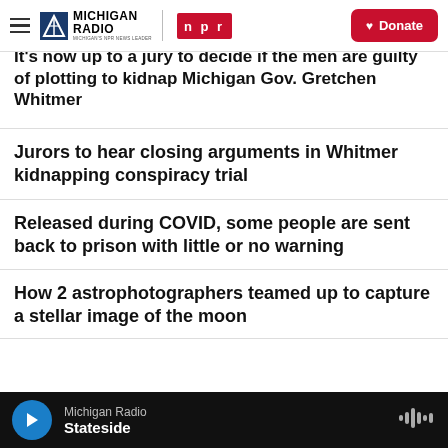Michigan Radio — Michigan's NPR News Leader | NPR | Donate
It's now up to a jury to decide if the men are guilty of plotting to kidnap Michigan Gov. Gretchen Whitmer
Jurors to hear closing arguments in Whitmer kidnapping conspiracy trial
Released during COVID, some people are sent back to prison with little or no warning
How 2 astrophotographers teamed up to capture a stellar image of the moon
Michigan Radio — Stateside